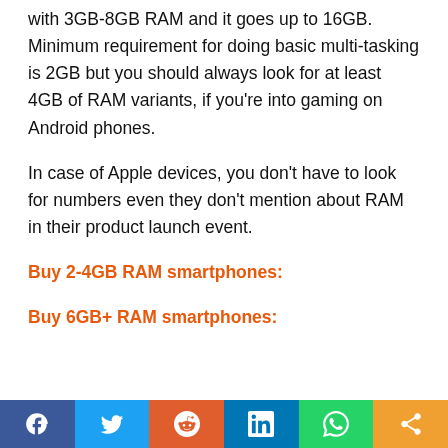with 3GB-8GB RAM and it goes up to 16GB. Minimum requirement for doing basic multi-tasking is 2GB but you should always look for at least 4GB of RAM variants, if you're into gaming on Android phones.
In case of Apple devices, you don't have to look for numbers even they don't mention about RAM in their product launch event.
Buy 2-4GB RAM smartphones:
Buy 6GB+ RAM smartphones:
Social share bar: Facebook, Twitter, Reddit, LinkedIn, WhatsApp, Share